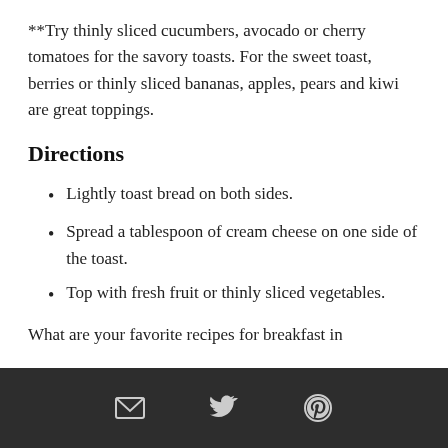**Try thinly sliced cucumbers, avocado or cherry tomatoes for the savory toasts. For the sweet toast, berries or thinly sliced bananas, apples, pears and kiwi are great toppings.
Directions
Lightly toast bread on both sides.
Spread a tablespoon of cream cheese on one side of the toast.
Top with fresh fruit or thinly sliced vegetables.
What are your favorite recipes for breakfast in
[email icon] [twitter icon] [pinterest icon]